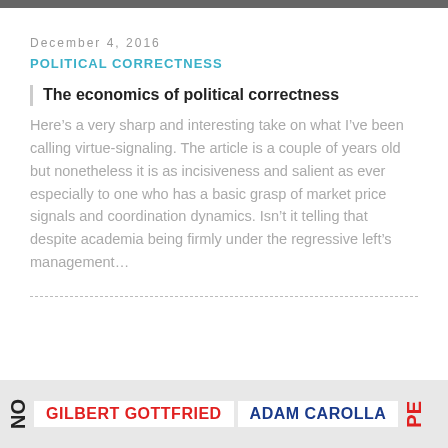December 4, 2016
POLITICAL CORRECTNESS
The economics of political correctness
Here’s a very sharp and interesting take on what I’ve been calling virtue-signaling. The article is a couple of years old but nonetheless it is as incisiveness and salient as ever especially to one who has a basic grasp of market price signals and coordination dynamics. Isn’t it telling that despite academia being firmly under the regressive left’s management…
[Figure (screenshot): Bottom banner showing partially visible names: GILBERT GOTTFRIED in red, ADAM CAROLLA in dark blue, and partially visible text, on a light background with rotated 'NO' and 'PE' letters at sides.]